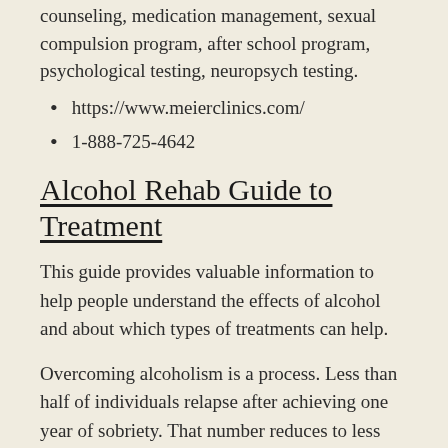counseling, medication management, sexual compulsion program, after school program, psychological testing, neuropsych testing.
https://www.meierclinics.com/
1-888-725-4642
Alcohol Rehab Guide to Treatment
This guide provides valuable information to help people understand the effects of alcohol and about which types of treatments can help.
Overcoming alcoholism is a process. Less than half of individuals relapse after achieving one year of sobriety. That number reduces to less than 15 percent who relapse after five years of